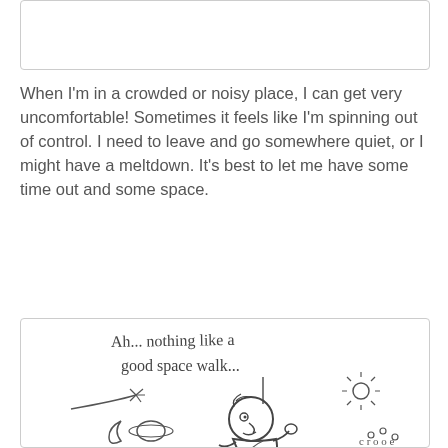[Figure (illustration): Top portion of a bordered box, partially visible at top of page (cropped).]
When I'm in a crowded or noisy place, I can get very uncomfortable! Sometimes it feels like I'm spinning out of control. I need to leave and go somewhere quiet, or I might have a meltdown. It's best to let me have some time out and some space.
[Figure (illustration): Hand-drawn cartoon illustration inside a bordered box. Shows a character in a spacesuit doing a spacewalk. Text reads 'Ah... nothing like a good space walk...' with drawings of a shooting star, a sun, a planet with rings, a crescent moon, and the astronaut character floating in space.]